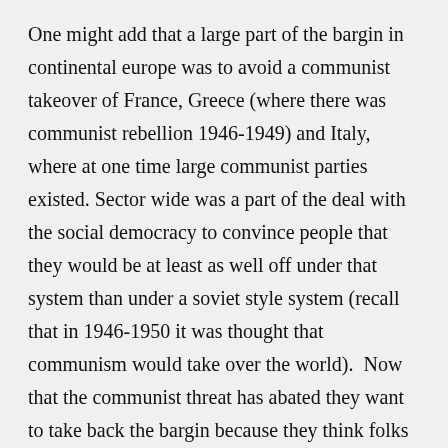One might add that a large part of the bargin in continental europe was to avoid a communist takeover of France, Greece (where there was communist rebellion 1946-1949) and Italy, where at one time large communist parties existed. Sector wide was a part of the deal with the social democracy to convince people that they would be at least as well off under that system than under a soviet style system (recall that in 1946-1950 it was thought that communism would take over the world).  Now that the communist threat has abated they want to take back the bargin because they think folks have no other way to go.
(The same sort of applies in the US as a good bit of the New Deal was to prevent rebellions during the 1930s) So its now the 1% desiring to renige on the